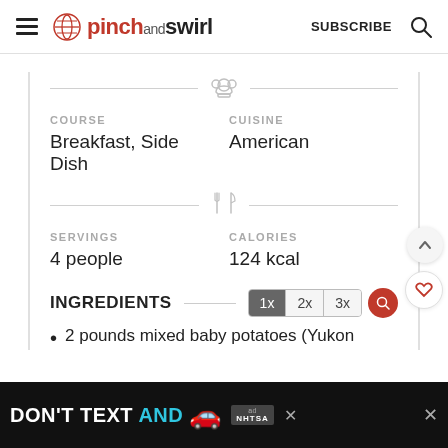pinch and swirl — SUBSCRIBE
COURSE
Breakfast, Side Dish
CUISINE
American
SERVINGS
4 people
CALORIES
124 kcal
INGREDIENTS
2 pounds mixed baby potatoes (Yukon
[Figure (other): Advertisement banner: DON'T TEXT AND [car emoji] with NHTSA logo]